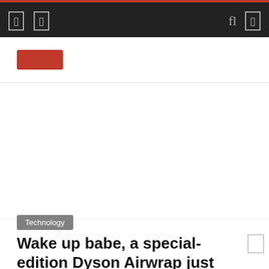Navigation bar with icons
[Figure (screenshot): Empty white image area placeholder for article hero image]
Technology
Wake up babe, a special-edition Dyson Airwrap just dropped